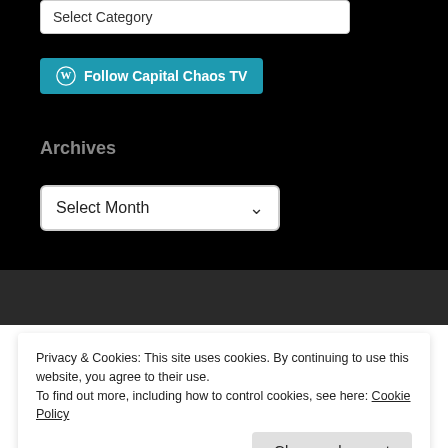Select Category
Follow Capital Chaos TV
Archives
Select Month
Privacy & Cookies: This site uses cookies. By continuing to use this website, you agree to their use.
To find out more, including how to control cookies, see here: Cookie Policy
Close and accept